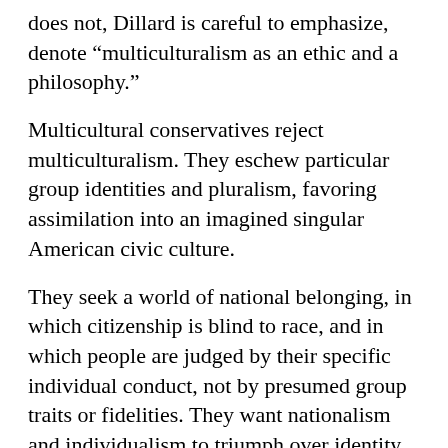does not, Dillard is careful to emphasize, denote “multiculturalism as an ethic and a philosophy.”
Multicultural conservatives reject multiculturalism. They eschew particular group identities and pluralism, favoring assimilation into an imagined singular American civic culture.
They seek a world of national belonging, in which citizenship is blind to race, and in which people are judged by their specific individual conduct, not by presumed group traits or fidelities. They want nationalism and individualism to triumph over identity politics.
The central insight of Dillard is that while conservatives of color may wish to transcend race, race will not transcend them. Through close reading of memoirs by Black conservatives like George Schuyler and Glenn Loury, Dillard shows how issues of racial identity are inescapable even for those who